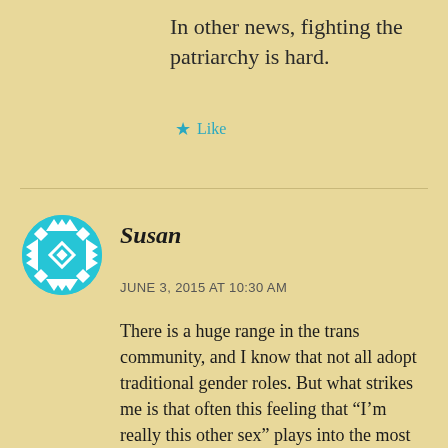In other news, fighting the patriarchy is hard.
★ Like
[Figure (illustration): Circular avatar with cyan/turquoise geometric Aztec-style pattern on white background]
Susan
JUNE 3, 2015 AT 10:30 AM
There is a huge range in the trans community, and I know that not all adopt traditional gender roles. But what strikes me is that often this feeling that “I’m really this other sex” plays into the most rigid gender constructions, often in